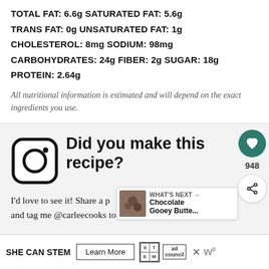TOTAL FAT: 6.6g SATURATED FAT: 5.6g
TRANS FAT: 0g UNSATURATED FAT: 1g
CHOLESTEROL: 8mg SODIUM: 98mg
CARBOHYDRATES: 24g FIBER: 2g SUGAR: 18g
PROTEIN: 2.64g
All nutritional information is estimated and will depend on the exact ingredients you use.
[Figure (logo): Instagram icon (rounded square with camera outline)]
Did you make this recipe?
I'd love to see it! Share a photo on Instagram or Pinterest and tag me @carleecooks to let me know
[Figure (infographic): WHAT'S NEXT arrow with Chocolate Gooey Butte... thumbnail]
[Figure (infographic): SHE CAN STEM - Learn More ad banner with STEM grid logo and Ad Council logo]